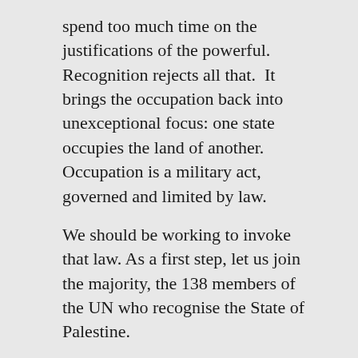spend too much time on the justifications of the powerful.  Recognition rejects all that.  It brings the occupation back into unexceptional focus: one state occupies the land of another.  Occupation is a military act, governed and limited by law.
We should be working to invoke that law. As a first step, let us join the majority, the 138 members of the UN who recognise the State of Palestine.
Signed by these Alternative Jewish Voices and Friends,
Marilyn Garson		Sarah Cole